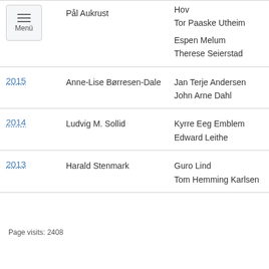| Year | Winner | Runners |
| --- | --- | --- |
|  | Pål Aukrust | Hov
Tor Paaske Utheim
Espen Melum
Therese Seierstad |
| 2015 | Anne-Lise Børresen-Dale | Jan Terje Andersen
John Arne Dahl |
| 2014 | Ludvig M. Sollid | Kyrre Eeg Emblem
Edward Leithe |
| 2013 | Harald Stenmark | Guro Lind
Tom Hemming Karlsen |
Page visits: 2408